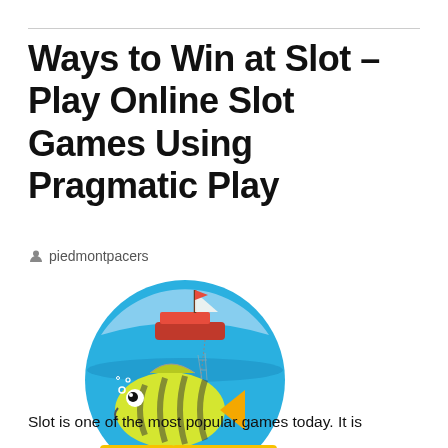Ways to Win at Slot – Play Online Slot Games Using Pragmatic Play
piedmontpacers
[Figure (illustration): Circular logo for a slot game called 'Holy Mackerel! Extreme Fishing' featuring a cartoon fish underwater with a fishing boat above the water line, set against a blue ocean background. The logo text 'HOLY MACKEREL! EXTREME FISHING' appears at the bottom.]
Slot is one of the most popular games today. It is